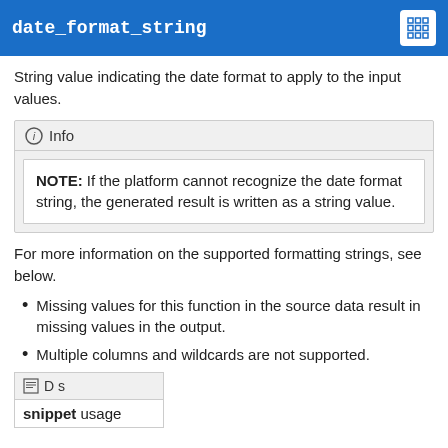date_format_string
String value indicating the date format to apply to the input values.
Info
NOTE: If the platform cannot recognize the date format string, the generated result is written as a string value.
For more information on the supported formatting strings, see below.
Missing values for this function in the source data result in missing values in the output.
Multiple columns and wildcards are not supported.
D s
snippet usage